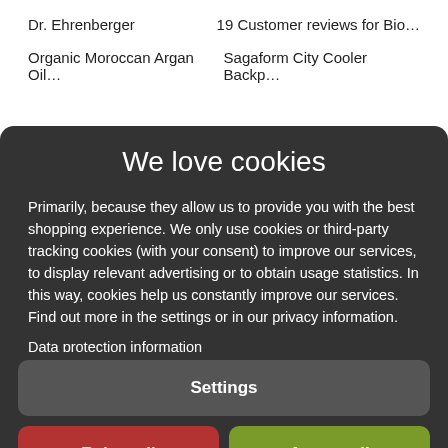Dr. Ehrenberger    19 Customer reviews for Bio…
Organic Moroccan Argan Oil…    Sagaform City Cooler Backp…
We love cookies
Primarily, because they allow us to provide you with the best shopping experience. We only use cookies or third-party tracking cookies (with your consent) to improve our services, to display relevant advertising or to obtain usage statistics. In this way, cookies help us constantly improve our services. Find out more in the settings or in our privacy information.
Data protection information